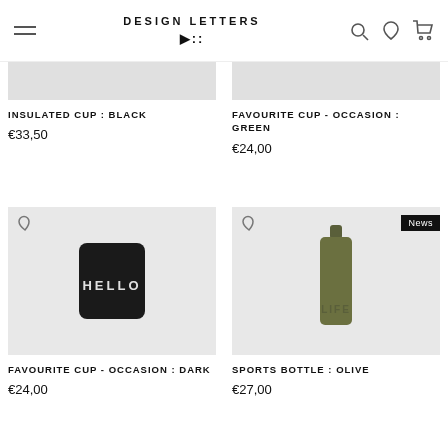DESIGN LETTERS
INSULATED CUP : BLACK
€33,50
FAVOURITE CUP - OCCASION : GREEN
€24,00
[Figure (photo): Black mug with HELLO text on grey background]
FAVOURITE CUP - OCCASION : DARK
€24,00
[Figure (photo): Olive green sports bottle on grey background with News badge]
SPORTS BOTTLE : OLIVE
€27,00